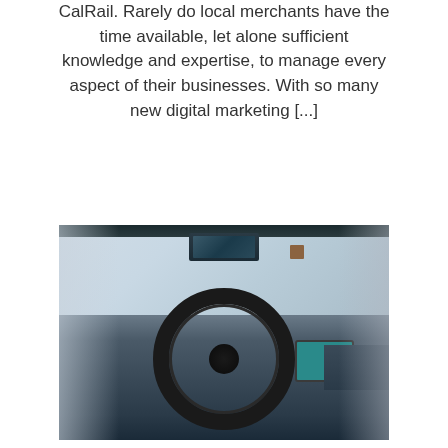CalRail. Rarely do local merchants have the time available, let alone sufficient knowledge and expertise, to manage every aspect of their businesses. With so many new digital marketing [...]
[Figure (photo): Photo of a luxury car interior showing the steering wheel, dashboard, rearview mirror, and windshield from the driver's perspective]